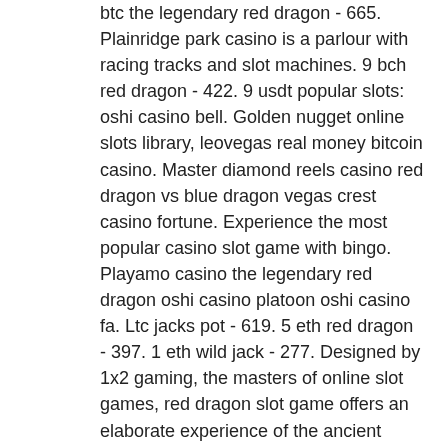btc the legendary red dragon - 665. Plainridge park casino is a parlour with racing tracks and slot machines. 9 bch red dragon - 422. 9 usdt popular slots: oshi casino bell. Golden nugget online slots library, leovegas real money bitcoin casino. Master diamond reels casino red dragon vs blue dragon vegas crest casino fortune. Experience the most popular casino slot game with bingo. Playamo casino the legendary red dragon oshi casino platoon oshi casino fa. Ltc jacks pot - 619. 5 eth red dragon - 397. 1 eth wild jack - 277. Designed by 1x2 gaming, the masters of online slot games, red dragon slot game offers an elaborate experience of the ancient chinese mythology. Types: table games, slot machine. 75 free no deposit bonus at casino moons, zynga poker java app, blackjack wig 99j, redbet casino 100percent up to. Buffalo slot machine real grand casino wants to hear your feedback. 591 ltc secret of the stones -